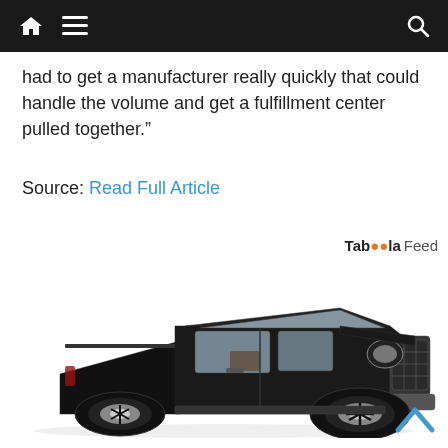[navigation bar with home icon, hamburger menu, and search icon]
had to get a manufacturer really quickly that could handle the volume and get a fulfillment center pulled together.”
Source: Read Full Article
Taboola Feed
[Figure (photo): A black pickup truck (RAM-style) photographed in a three-quarter front view on a white background.]
[Figure (other): Blue upward-pointing chevron arrow (back-to-top button) in the bottom right corner.]